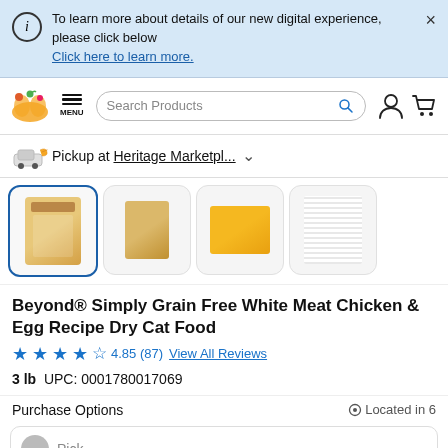To learn more about details of our new digital experience, please click below
Click here to learn more.
[Figure (screenshot): Grocery store website navigation bar with logo, hamburger menu, search bar, user icon, and cart icon]
Pickup at Heritage Marketpl...
[Figure (screenshot): Four product thumbnail images of cat food bags in a horizontal row, first one selected with blue border]
Beyond® Simply Grain Free White Meat Chicken & Egg Recipe Dry Cat Food
4.85 (87) View All Reviews
3 lb  UPC: 0001780017069
Purchase Options
Located in 6
Pick...